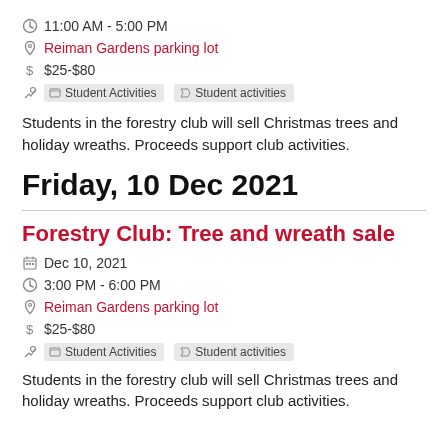11:00 AM - 5:00 PM
Reiman Gardens parking lot
$25-$80
Student Activities  Student activities
Students in the forestry club will sell Christmas trees and holiday wreaths. Proceeds support club activities.
Friday, 10 Dec 2021
Forestry Club: Tree and wreath sale
Dec 10, 2021
3:00 PM - 6:00 PM
Reiman Gardens parking lot
$25-$80
Student Activities  Student activities
Students in the forestry club will sell Christmas trees and holiday wreaths. Proceeds support club activities.